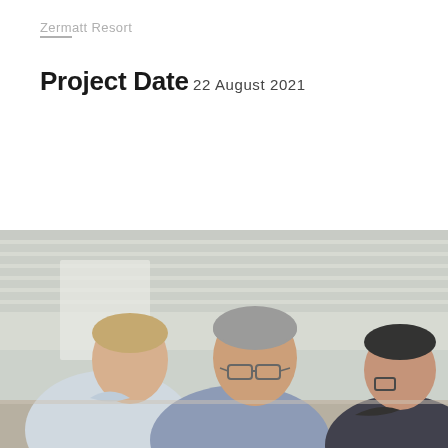Zermatt Resort
Project Date
22 August 2021
[Figure (photo): Three men in an office or meeting room setting, looking downward at something on a table. The man on the left wears a light blue shirt, the man in the center is older with grey hair and glasses wearing a blue shirt, and the man on the right is partially visible wearing a dark jacket. Office blinds are visible in the background.]